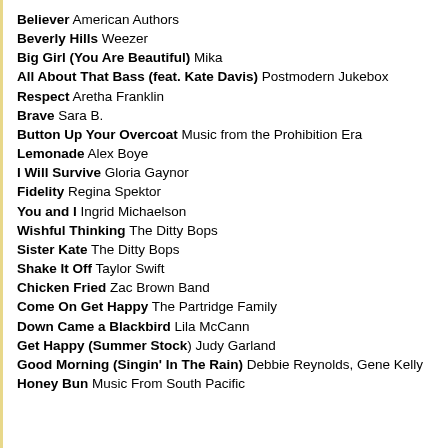Believer American Authors
Beverly Hills Weezer
Big Girl (You Are Beautiful) Mika
All About That Bass (feat. Kate Davis) Postmodern Jukebox
Respect Aretha Franklin
Brave Sara B.
Button Up Your Overcoat Music from the Prohibition Era
Lemonade Alex Boye
I Will Survive Gloria Gaynor
Fidelity Regina Spektor
You and I Ingrid Michaelson
Wishful Thinking The Ditty Bops
Sister Kate The Ditty Bops
Shake It Off Taylor Swift
Chicken Fried Zac Brown Band
Come On Get Happy The Partridge Family
Down Came a Blackbird Lila McCann
Get Happy (Summer Stock) Judy Garland
Good Morning (Singin' In The Rain) Debbie Reynolds, Gene Kelly
Honey Bun Music From South Pacific